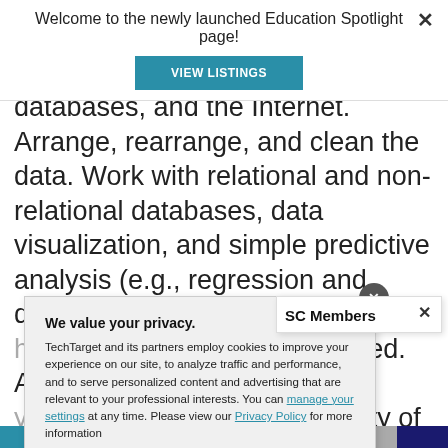Welcome to the newly launched Education Spotlight page!
VIEW LISTINGS
databases, and the Internet. Arrange, rearrange, and clean the data. Work with relational and non-relational databases, data visualization, and simple predictive analysis (e.g., regression and decision trees). See how missing values are handled. And try your hand at acquiring a variety of medium- sized datasets. You'll also look good on
We value your privacy.
TechTarget and its partners employ cookies to improve your experience on our site, to analyze traffic and performance, and to serve personalized content and advertising that are relevant to your professional interests. You can manage your settings at any time. Please view our Privacy Policy for more information
OK
Settings
SC Members